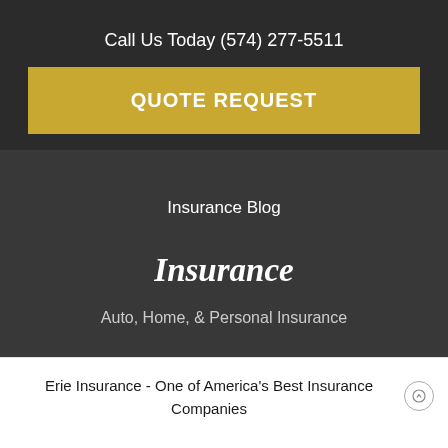Call Us Today (574) 277-5511
QUOTE REQUEST
Insurance Blog
Insurance
Auto, Home, & Personal Insurance
Erie Insurance - One of America's Best Insurance Companies